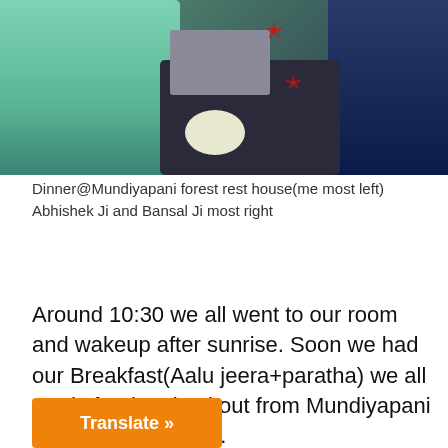[Figure (photo): Group of people having dinner at Mundiyapani forest rest house, seated around a dark table with food, a laptop visible, star emoji decorations overlaid on the image]
Dinner@Mundiyapani forest rest house(me most left) Abhishek Ji and Bansal Ji most right
Around 10:30 we all went to our room and wakeup after sunrise. Soon we had our Breakfast(Aalu jeera+paratha) we all ready for the checkout from Mundiyapani FRH around 10 AM.
Translate »